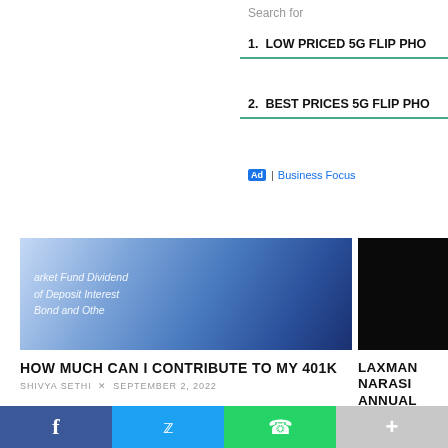Search for
1. LOW PRICED 5G FLIP PHO
2. BEST PRICES 5G FLIP PHO
Ad | Business Focus
[Figure (photo): Blue-tinted image of financial documents including money market fund dividends, certificate of deposit interest, bond and other text, with a calculator keyboard visible]
[Figure (photo): Dark/black image, right side article thumbnail]
HOW MUCH CAN I CONTRIBUTE TO MY 401K
SHIVYA SETHI × SEPTEMBER 2, 2022
LAXMAN NARASI ANNUAL PACKAC STARBUCKS
ADITI BALI × SEPTE
[Figure (photo): Colorful gradient banner image at bottom of page]
f
Twitter bird icon
WhatsApp icon
+